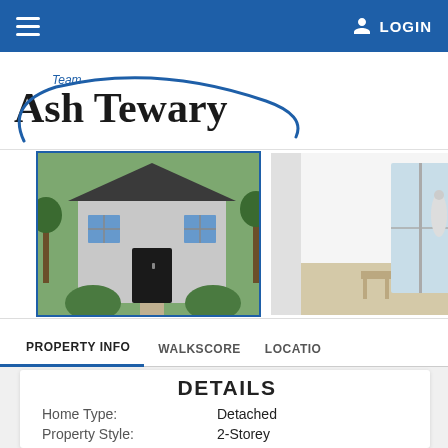LOGIN
[Figure (logo): Team Ash Tewary logo with blue swoosh curve around the name]
[Figure (photo): Exterior photo of a detached 2-storey home with brick facade and green trees]
[Figure (photo): Interior photo showing a bright room with white walls and a glass door]
PROPERTY INFO | WALKSCORE | LOCATION
DETAILS
| Field | Value |
| --- | --- |
| Home Type: | Detached |
| Property Style: | 2-Storey |
| Beds: | 2 |
| Baths: | 3 |
| Garages: | 0 |